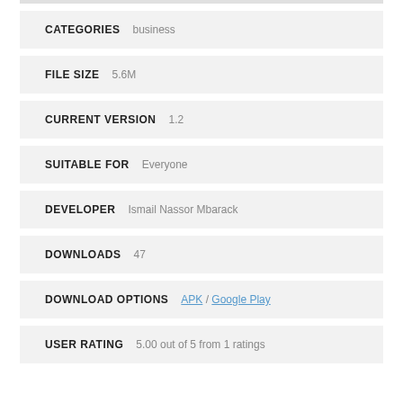CATEGORIES   business
FILE SIZE   5.6M
CURRENT VERSION   1.2
SUITABLE FOR   Everyone
DEVELOPER   Ismail Nassor Mbarack
DOWNLOADS   47
DOWNLOAD OPTIONS   APK / Google Play
USER RATING   5.00 out of 5 from 1 ratings